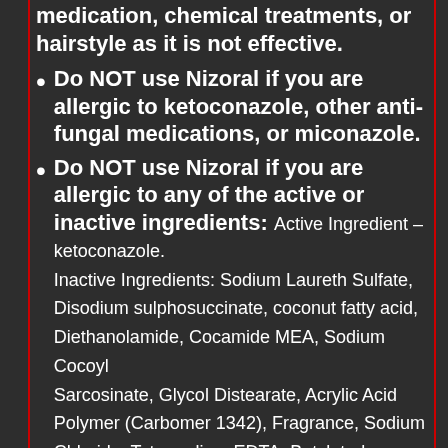medication, chemical treatments, or hairstyle as it is not effective.
Do NOT use Nizoral if you are allergic to ketoconazole, other anti-fungal medications, or miconazole.
Do NOT use Nizoral if you are allergic to any of the active or inactive ingredients: Active Ingredient – ketoconazole. Inactive Ingredients: Sodium Laureth Sulfate, Disodium sulphosuccinate, coconut fatty acid, Diethanolamide, Cocamide MEA, Sodium Cocoyl Sarcosinate, Glycol Distearate, Acrylic Acid Polymer (Carbomer 1342), Fragrance, Sodium Chloride, Tetrasodium EDTA, Butylated Hydroxytoluene, Quaternium-15, Polyquaternium-y, Sodium Hydroxide, Hydrochloric Acid, FD & C Blue No 1.